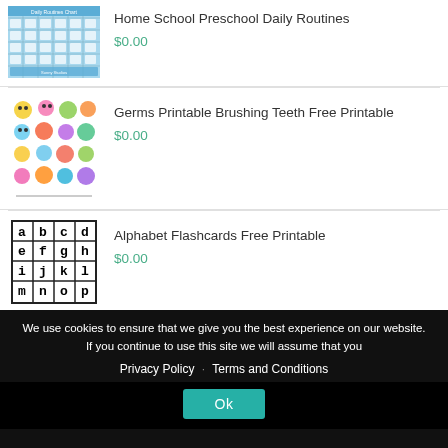[Figure (illustration): Thumbnail of Home School Preschool Daily Routines chart with blue background and grid of daily activity images]
Home School Preschool Daily Routines
$0.00
[Figure (illustration): Thumbnail of colorful cartoon germs and microbes for brushing teeth printable]
Germs Printable Brushing Teeth Free Printable
$0.00
[Figure (illustration): Thumbnail of alphabet flashcards grid showing letters a through t in bold monospace font]
Alphabet Flashcards Free Printable
$0.00
We use cookies to ensure that we give you the best experience on our website. If you continue to use this site we will assume that you
Privacy Policy · Terms and Conditions
Ok